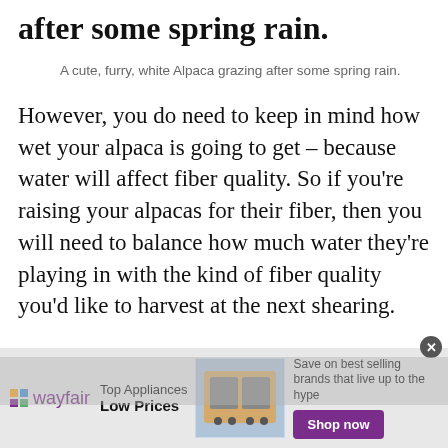after some spring rain.
A cute, furry, white Alpaca grazing after some spring rain.
However, you do need to keep in mind how wet your alpaca is going to get – because water will affect fiber quality. So if you're raising your alpacas for their fiber, then you will need to balance how much water they're playing in with the kind of fiber quality you'd like to harvest at the next shearing.
That's not to say that you need to keep your alpaca completely dry all of the time. After all,
[Figure (other): Wayfair advertisement banner: Top Appliances Low Prices with image of a stove range and Shop now button]